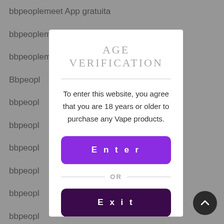bbpeoplemeet App gratuita
bbpeoplemeet cs review
bbpeoplemeet de was kostet
Bbpeopl
bbpeopl
bbpeopl
bbpeopl
bbpeopl
bbpeopl
bbpeopl
bbpeopl
Bbw Cas
bbw cup
AGE VERIFICATION
To enter this website, you agree that you are 18 years or older to purchase any Vape products.
Enter
OR
Exit